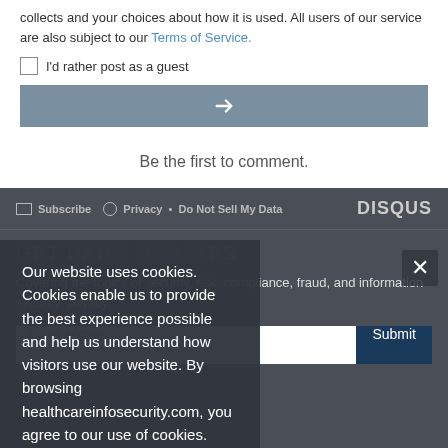collects and your choices about how it is used. All users of our service are also subject to our Terms of Service.
I'd rather post as a guest
[Figure (other): Gray button with right arrow icon]
Be the first to comment.
Subscribe • Privacy • Do Not Sell My Data
DISQUS
GET DAILY UPDATES
Covering the topics of security, risk, compliance, fraud, and information security, privacy.
Email address
Submit
Our website uses cookies. Cookies enable us to provide the best experience possible and help us understand how visitors use our website. By browsing healthcareinfosecurity.com, you agree to our use of cookies.